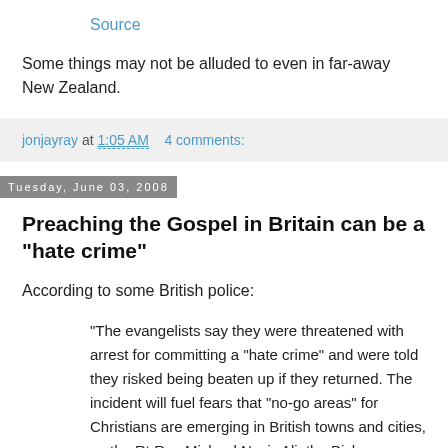Source
Some things may not be alluded to even in far-away New Zealand.
jonjayray at 1:05 AM    4 comments:
Tuesday, June 03, 2008
Preaching the Gospel in Britain can be a "hate crime"
According to some British police:
"The evangelists say they were threatened with arrest for committing a "hate crime" and were told they risked being beaten up if they returned. The incident will fuel fears that "no-go areas" for Christians are emerging in British towns and cities, as the Rt Rev Michael Nazir-Ali, the Bishop